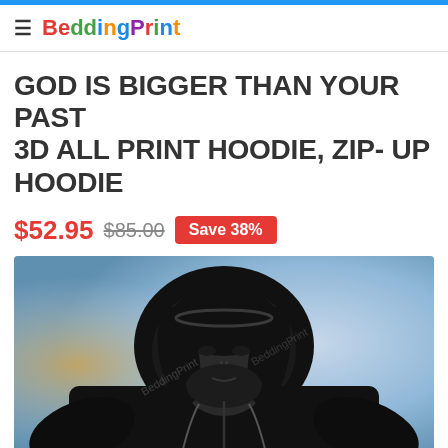BeddingPrint
GOD IS BIGGER THAN YOUR PAST 3D ALL PRINT HOODIE, ZIP- UP HOODIE
$52.95 $85.00 Save 38%
[Figure (photo): Black hoodie with Jesus face print displayed on a light blue sky background]